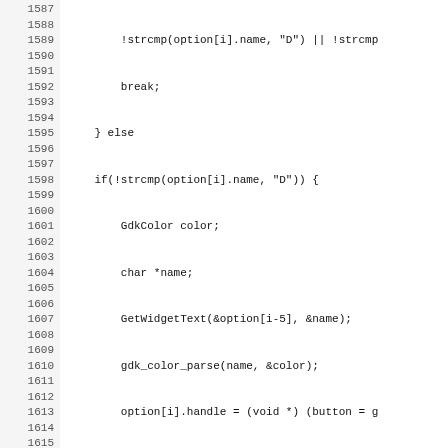Source code listing, lines 1587-1619, showing C code for button color handling in GTK dialogs.